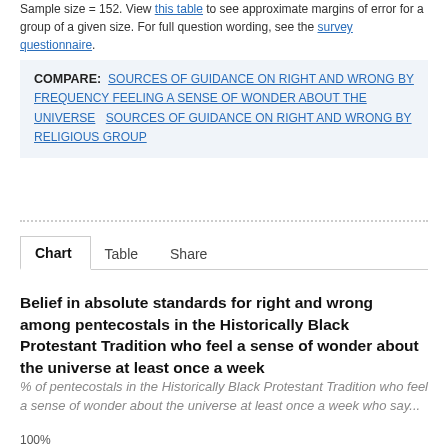Sample size = 152. View this table to see approximate margins of error for a group of a given size. For full question wording, see the survey questionnaire.
COMPARE: SOURCES OF GUIDANCE ON RIGHT AND WRONG BY FREQUENCY FEELING A SENSE OF WONDER ABOUT THE UNIVERSE    SOURCES OF GUIDANCE ON RIGHT AND WRONG BY RELIGIOUS GROUP
Belief in absolute standards for right and wrong among pentecostals in the Historically Black Protestant Tradition who feel a sense of wonder about the universe at least once a week
% of pentecostals in the Historically Black Protestant Tradition who feel a sense of wonder about the universe at least once a week who say...
100%